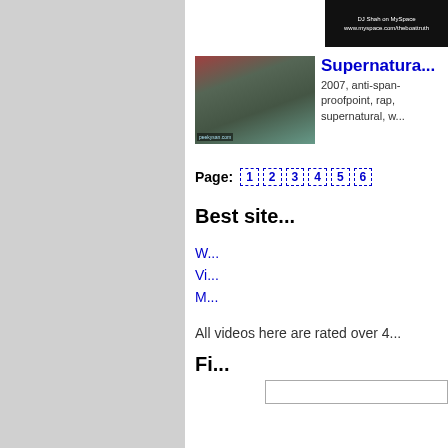[Figure (screenshot): Small dark thumbnail showing DJ Shah on MySpace text, www.myspace.com/theboattruth]
[Figure (photo): Thumbnail image of a group of people, appears to be at a convention or gathering]
Supernatura...
2007, anti-span- proofpoint, rap, supernatural, w...
Page: 1 2 3 4 5 6
Best site...
W...
Vi...
M...
All videos here are rated over 4...
Fi...